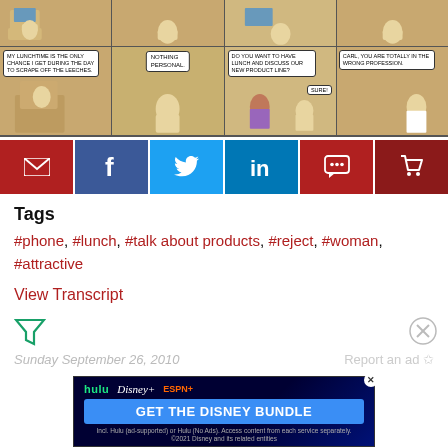[Figure (illustration): Dilbert comic strip top row — four panels showing office characters at desks with computers]
[Figure (illustration): Dilbert comic strip bottom row — four panels: panel 1: character says 'MY LUNCHTIME IS THE ONLY CHANCE I GET DURING THE DAY TO SCRAPE OFF THE LEECHES.'; panel 2: character says 'NOTHING PERSONAL.'; panel 3: woman asks 'DO YOU WANT TO HAVE LUNCH AND DISCUSS OUR NEW PRODUCT LINE?' character says 'SURE!'; panel 4: boss says 'CARL, YOU ARE TOTALLY IN THE WRONG PROFESSION.']
[Figure (infographic): Social sharing buttons row: email (red), Facebook (blue), Twitter (blue), LinkedIn (blue), comment (red), cart (dark red)]
Tags
#phone, #lunch, #talk about products, #reject, #woman, #attractive
View Transcript
Sunday September 26, 2010
Report an ad
[Figure (screenshot): Advertisement for Disney Bundle featuring Hulu, Disney+, ESPN+ logos with text 'GET THE DISNEY BUNDLE'. Fine print: 'Incl. Hulu (ad-supported) or Hulu (No Ads). Access content from each service separately. ©2021 Disney and its related entities']